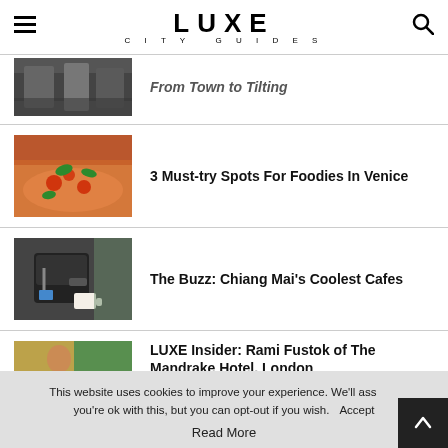LUXE CITY GUIDES
[Figure (photo): Partial article thumbnail - building/street scene, partially visible]
From Town to Tilting (partial, italic)
[Figure (photo): Pizza with toppings and basil leaves]
3 Must-try Spots For Foodies In Venice
[Figure (photo): Espresso machine with coffee cups]
The Buzz: Chiang Mai’s Coolest Cafes
[Figure (photo): Person with colorful background]
LUXE Insider: Rami Fustok of The Mandrake Hotel, London
This website uses cookies to improve your experience. We'll assume you're ok with this, but you can opt-out if you wish.
Read More